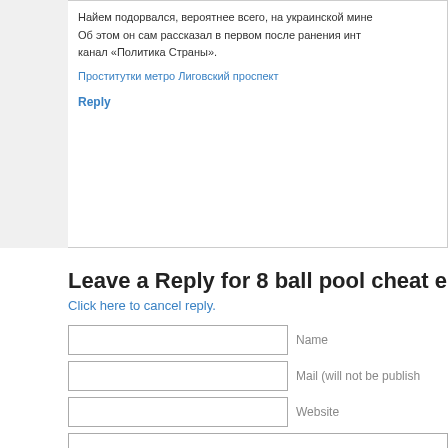Найем подорвался, вероятнее всего, на украинской мине. Об этом он сам рассказал в первом после ранения интервью — канал «Политика Страны».
Проститутки метро Лиговский проспект
Reply
Leave a Reply for 8 ball pool cheat engin…
Click here to cancel reply.
Name
Mail (will not be publish…
Website